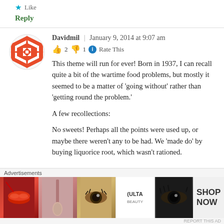Like
Reply
Davidmil | January 9, 2014 at 9:07 am
👍 2 👎 1 ℹ Rate This
This theme will run for ever! Born in 1937, I can recall quite a bit of the wartime food problems, but mostly it seemed to be a matter of 'going without' rather than 'getting round the problem.'
A few recollections:
No sweets! Perhaps all the points were used up, or maybe there weren't any to be had. We 'made do' by buying liquorice root, which wasn't rationed.
[Figure (other): Advertisement banner for ULTA Beauty featuring makeup images including lips, brush, eye, ULTA logo, eye makeup, and a SHOP NOW panel]